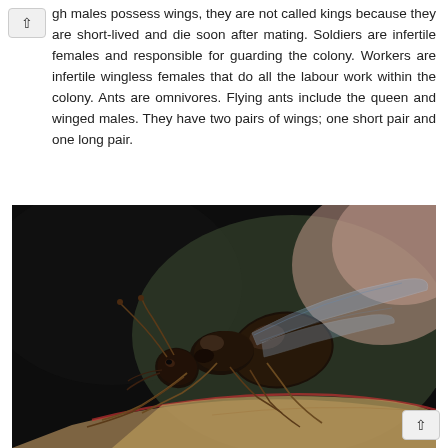gh males possess wings, they are not called kings because they are short-lived and die soon after mating. Soldiers are infertile females and responsible for guarding the colony. Workers are infertile wingless females that do all the labour work within the colony. Ants are omnivores. Flying ants include the queen and winged males. They have two pairs of wings; one short pair and one long pair.
[Figure (photo): Close-up macro photograph of a flying ant (winged ant) perched on the edge of a leaf. The ant is black with visible wings extended, photographed against a blurred background of dark and pinkish tones.]